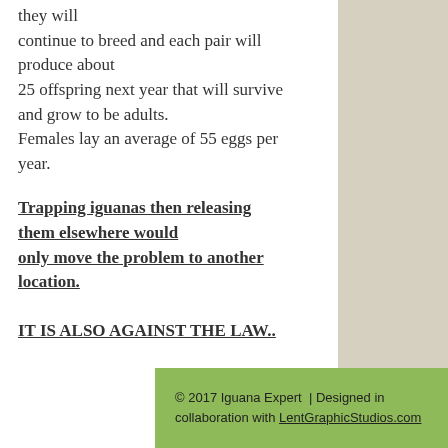they will continue to breed and each pair will produce about 25 offspring next year that will survive and grow to be adults. Females lay an average of 55 eggs per year.
Trapping iguanas then releasing them elsewhere would only move the problem to another location.
IT IS ALSO AGAINST THE LAW..
© 2017 Iguana Expert  | Designed in collaboration with LentGraphicStudios.com